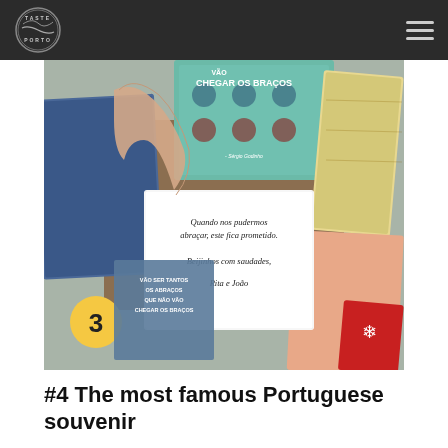Taste Porto
[Figure (photo): Photo of colorful Portuguese tile-design cards and postcards spread on a wooden surface, with a hand holding one. A white card in the center reads 'Quando nos pudermos abraçar, este fica prometido. Beijinhos com saudades, Rita e João'. Cards feature text in Portuguese including 'Vão ser tantos os abraços que não vão chegar os braços'. A yellow circle with the number 3 is visible in the lower left.]
#4 The most famous Portuguese souvenir
Cork souvenirs are possibly the most famous Portuguese souvenirs. Portugal is the world's largest producer of cork, so be prepared: you are